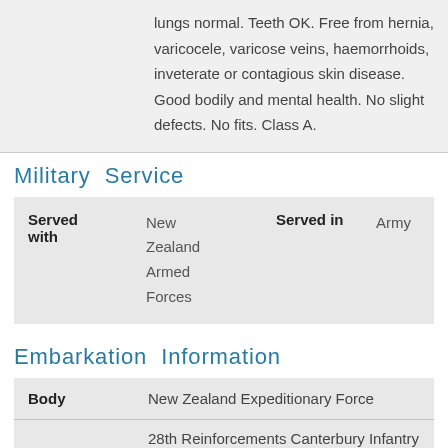lungs normal. Teeth OK. Free from hernia, varicocele, varicose veins, haemorrhoids, inveterate or contagious skin disease. Good bodily and mental health. No slight defects. No fits. Class A.
Military Service
| Served with |  | Served in |  |
| --- | --- | --- | --- |
| New Zealand Armed Forces |  |  | Army |
Embarkation Information
| Body |  |
| --- | --- |
|  | New Zealand Expeditionary Force |
28th Reinforcements Canterbury Infantry